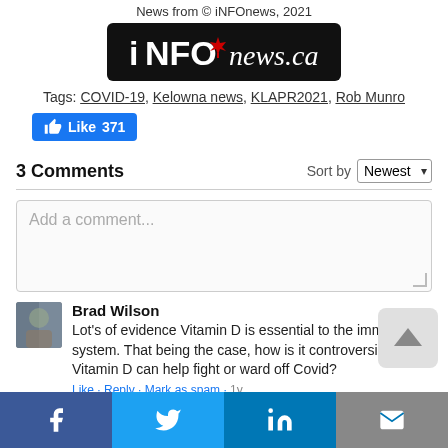News from © iNFOnews, 2021
[Figure (logo): iNFOnews.ca logo — white text on black rounded rectangle background]
Tags: COVID-19, Kelowna news, KLAPR2021, Rob Munro
[Figure (other): Facebook Like button showing 371 likes]
3 Comments
Sort by Newest
Add a comment...
Brad Wilson
Lot's of evidence Vitamin D is essential to the immune system. That being the case, how is it controversial ro Vitamin D can help fight or ward off Covid?
Like · Reply · Mark as spam · 1y
[Figure (other): Social share bar with Facebook, Twitter, LinkedIn, and email buttons]